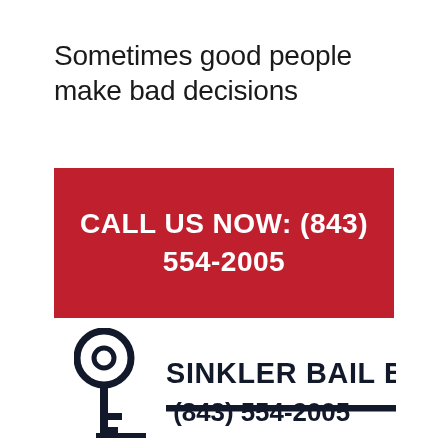Sometimes good people make bad decisions
CALL US NOW: (843) 554-2005
[Figure (logo): Sinkler Bail Bonds logo with a large skeleton key outline and company name and phone number (843) 554-2005]